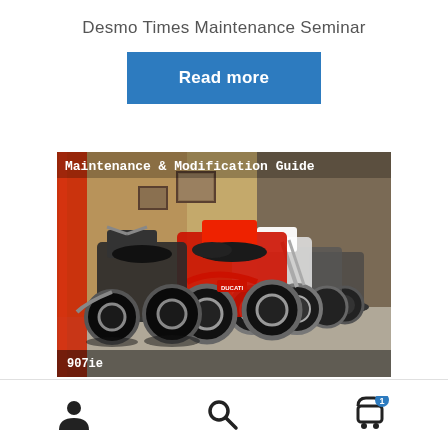Desmo Times Maintenance Seminar
Read more
[Figure (photo): A row of Ducati motorcycles parked in a workshop/garage setting. The image has an overlay title reading 'Maintenance & Modification Guide' and a label at the bottom reading '907ie'.]
User icon, Search icon, Cart icon with badge showing 1